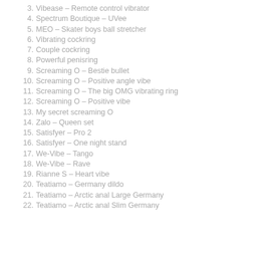3. Vibease – Remote control vibrator
4. Spectrum Boutique – UVee
5. MEO – Skater boys ball stretcher
6. Vibrating cockring
7. Couple cockring
8. Powerful penisring
9. Screaming O – Bestie bullet
10. Screaming O – Positive angle vibe
11. Screaming O – The big OMG vibrating ring
12. Screaming O – Positive vibe
13. My secret screaming O
14. Zalo – Queen set
15. Satisfyer – Pro 2
16. Satisfyer – One night stand
17. We-Vibe – Tango
18. We-Vibe – Rave
19. Rianne S – Heart vibe
20. Teatiamo – Germany dildo
21. Teatiamo – Arctic anal Large Germany
22. Teatiamo – Arctic anal Slim Germany